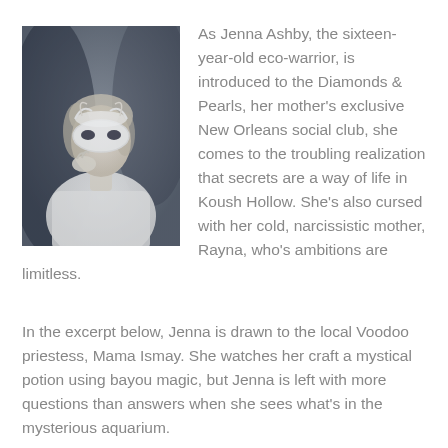[Figure (photo): A young woman wearing a white masquerade mask and white dress, photographed in a dark, moody style.]
As Jenna Ashby, the sixteen-year-old eco-warrior, is introduced to the Diamonds & Pearls, her mother's exclusive New Orleans social club, she comes to the troubling realization that secrets are a way of life in Koush Hollow. She's also cursed with her cold, narcissistic mother, Rayna, who's ambitions are limitless.
In the excerpt below, Jenna is drawn to the local Voodoo priestess, Mama Ismay. She watches her craft a mystical potion using bayou magic, but Jenna is left with more questions than answers when she sees what's in the mysterious aquarium.